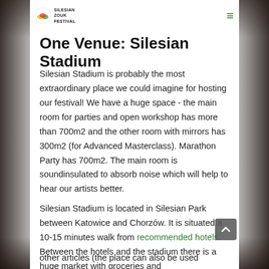SILESIAN ZOUK FESTIVAL
One Venue: Silesian Stadium
Silesian Stadium is probably the most extraordinary place we could imagine for hosting our festival! We have a huge space - the main room for parties and open workshop has more than 700m2 and the other room with mirrors has 300m2 (for Advanced Masterclass). Marathon Party has 700m2. The main room is soundinsulated to absorb noise which will help to hear our artists better.
Silesian Stadium is located in Silesian Park between Katowice and Chorzów. It is situated a 10-15 minutes walk from recommended hotels. Between the hotels and the stadium there is a huge market with groceries and other articles (the place can also be used...